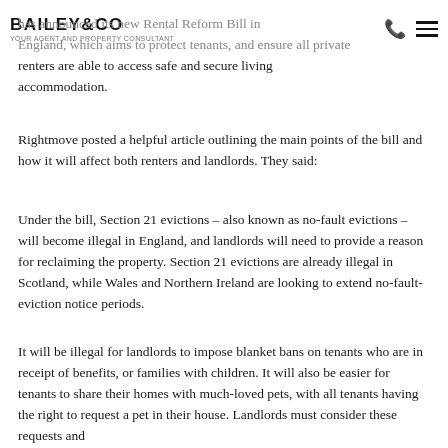BAILEY&CO — logo header with phone and menu icons
has announced its new Rental Reform Bill in England, which aims to protect tenants, and ensure all private renters are able to access safe and secure living accommodation.
Rightmove posted a helpful article outlining the main points of the bill and how it will affect both renters and landlords. They said:
Under the bill, Section 21 evictions – also known as no-fault evictions – will become illegal in England, and landlords will need to provide a reason for reclaiming the property. Section 21 evictions are already illegal in Scotland, while Wales and Northern Ireland are looking to extend no-fault-eviction notice periods.
It will be illegal for landlords to impose blanket bans on tenants who are in receipt of benefits, or families with children. It will also be easier for tenants to share their homes with much-loved pets, with all tenants having the right to request a pet in their house. Landlords must consider these requests and